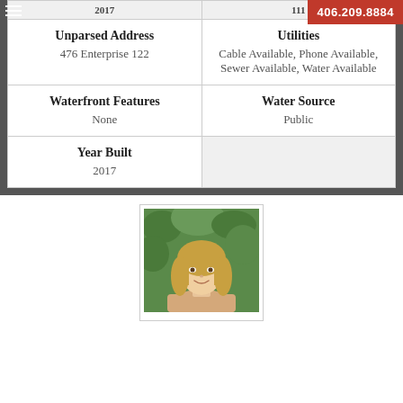| Unparsed Address | Utilities | Waterfront Features | Water Source | Year Built |  |
| --- | --- | --- | --- | --- | --- |
| 476 Enterprise 122 | Cable Available, Phone Available, Sewer Available, Water Available |
| None | Public |
| 2017 |  |
[Figure (photo): Headshot of a woman with blonde hair outdoors with green foliage background]